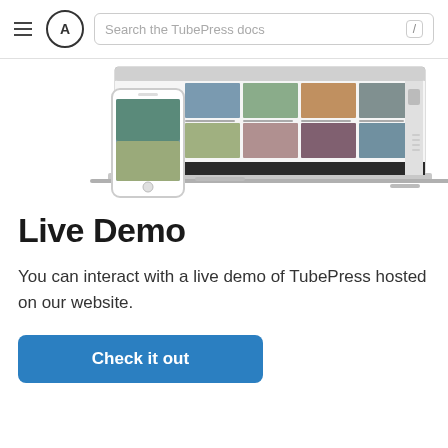Search the TubePress docs
[Figure (screenshot): Screenshot of TubePress plugin showing a video gallery on desktop browser and a mobile phone displaying a video thumbnail.]
Live Demo
You can interact with a live demo of TubePress hosted on our website.
Check it out